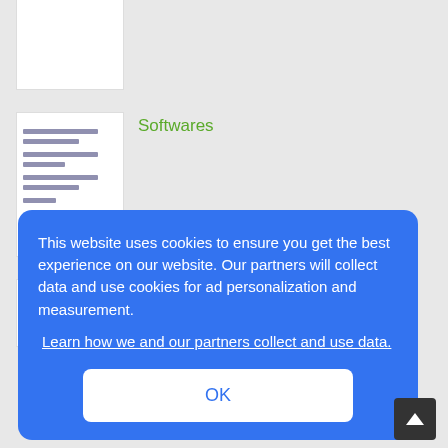[Figure (screenshot): Thumbnail of a document page (white, blank-looking)]
Softwares
[Figure (screenshot): Thumbnail of a document page with text lines]
Softwares
[Figure (screenshot): Thumbnail of a document with colored bar icons]
This website uses cookies to ensure you get the best experience on our website. Our partners will collect data and use cookies for ad personalization and measurement.
Learn how we and our partners collect and use data.
OK